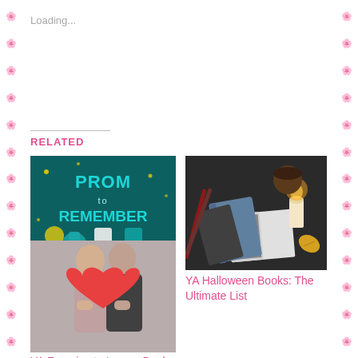Loading...
RELATED
[Figure (photo): Book cover for 'A Prom to Remember' with teal/green prom dress theme]
Guest Post: A Prom to Remember by Sandy Hall
[Figure (photo): Halloween books flatlay with books, candle, coffee cup and autumn leaves on dark background]
YA Halloween Books: The Ultimate List
[Figure (photo): Couple hiding behind a large red paper heart - enemies to lovers]
YA Enemies to Lovers Books: The Ultimate List